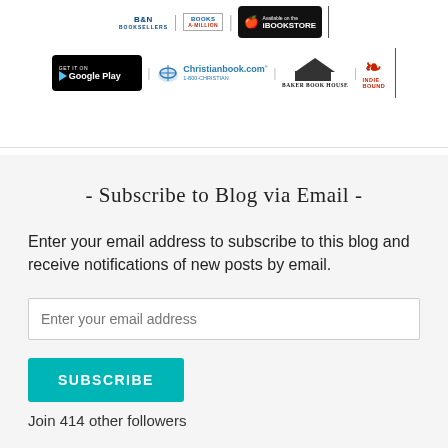[Figure (logo): Row of retailer logos including Barnes & Noble, Books-A-Million, iBookstore, Google Play, Christianbook.com, Baker Book House, Indie Bound]
- Subscribe to Blog via Email -
Enter your email address to subscribe to this blog and receive notifications of new posts by email.
Enter your email address
SUBSCRIBE
Join 414 other followers